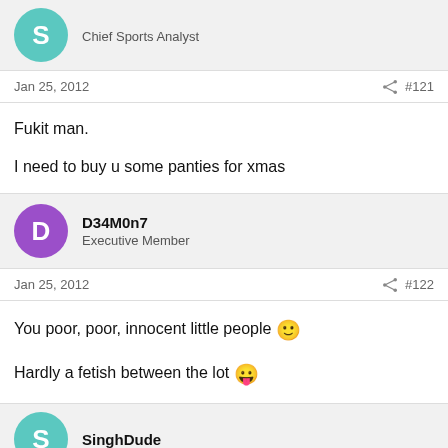Chief Sports Analyst
Jan 25, 2012  #121
Fukit man.

I need to buy u some panties for xmas
D34M0n7
Executive Member
Jan 25, 2012  #122
You poor, poor, innocent little people 🙂

Hardly a fetish between the lot 😛
SinghDude